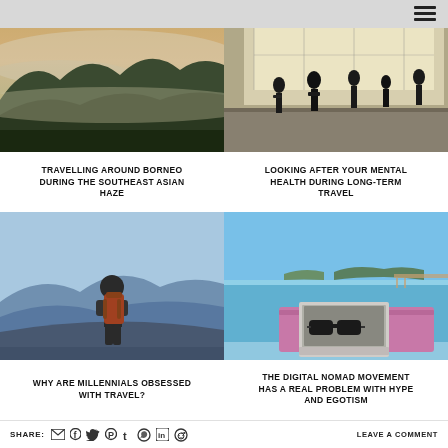[Figure (photo): Misty jungle mountains in Borneo with golden morning light]
[Figure (photo): Silhouettes of travellers walking through a bright airport terminal]
TRAVELLING AROUND BORNEO DURING THE SOUTHEAST ASIAN HAZE
LOOKING AFTER YOUR MENTAL HEALTH DURING LONG-TERM TRAVEL
[Figure (photo): Young man with backpack looking at mountain landscape]
[Figure (photo): Laptop and sunglasses on a pink table by the ocean]
WHY ARE MILLENNIALS OBSESSED WITH TRAVEL?
THE DIGITAL NOMAD MOVEMENT HAS A REAL PROBLEM WITH HYPE AND EGOTISM
SHARE: [email] [facebook] [twitter] [pinterest] [tumblr] [whatsapp] [linkedin] [reddit]   LEAVE A COMMENT